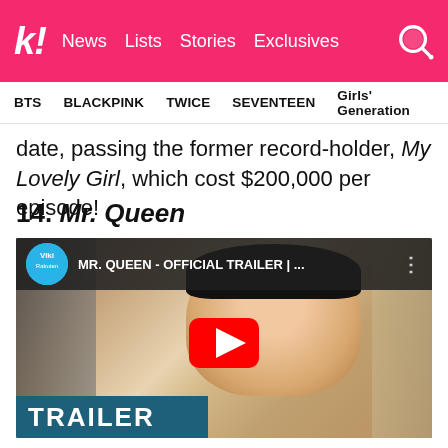k! News Lists Stories Exclusives
BTS  BLACKPINK  TWICE  SEVENTEEN  Girls' Generation
date, passing the former record-holder, My Lovely Girl, which cost $200,000 per episode!
14. Mr. Queen
[Figure (screenshot): YouTube video thumbnail for MR. QUEEN - OFFICIAL TRAILER by Viki Rakuten, showing a close-up of an actor's face with a play button overlay and TRAILER text at bottom left]